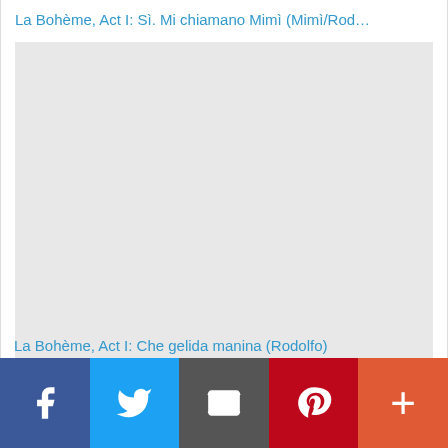La Bohème, Act I: Sì. Mi chiamano Mimì (Mimì/Rod…
[Figure (other): Embedded media player placeholder area (light gray rectangle), likely an audio or video player for the opera excerpt.]
La Bohème, Act I: Che gelida manina (Rodolfo)
[Figure (infographic): Social media share bar with four buttons: Facebook (blue), Twitter (light blue), Email (dark gray), Pinterest (red), More/Plus (orange-red).]